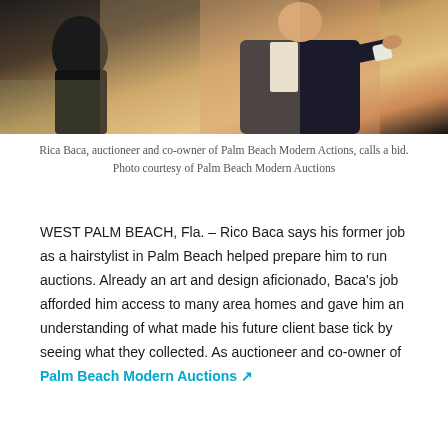[Figure (photo): An auctioneer in a dark suit pointing and calling a bid during an auction event.]
Rica Baca, auctioneer and co-owner of Palm Beach Modern Actions, calls a bid. Photo courtesy of Palm Beach Modern Auctions
WEST PALM BEACH, Fla. – Rico Baca says his former job as a hairstylist in Palm Beach helped prepare him to run auctions. Already an art and design aficionado, Baca's job afforded him access to many area homes and gave him an understanding of what made his future client base tick by seeing what they collected. As auctioneer and co-owner of Palm Beach Modern Auctions (PBMA)...